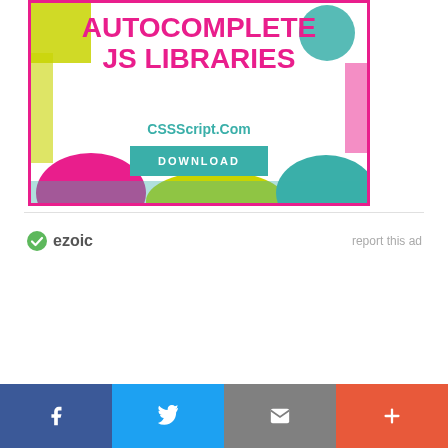[Figure (infographic): Advertisement banner for 'Autocomplete JS Libraries' from CSSScript.Com with a DOWNLOAD button, pink border, colorful decorative blobs]
ezoic    report this ad
[Figure (infographic): Social share bar with Facebook, Twitter, Email, and More (+) buttons]